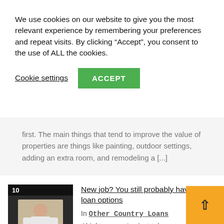We use cookies on our website to give you the most relevant experience by remembering your preferences and repeat visits. By clicking “Accept”, you consent to the use of ALL the cookies.
Cookie settings
ACCEPT
first. The main things that tend to improve the value of properties are things like painting, outdoor settings, adding an extra room, and remodeling a [...]
[Figure (photo): Thumbnail image of a man in a white shirt standing in a room, with a black banner and '10' label overlay at the top-left]
New job? You still probably have home loan options
In Other Country Loans
Alright, so you’ve just taken on a new job and you’re also thinking about getting a home loan. Most people would think this is a terrible time to be actually starting the process. But you might be surprised that there are actually lenders who fully